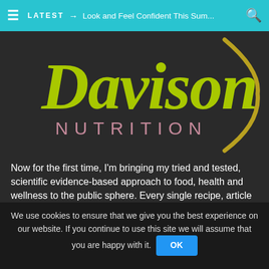LATEST → Look and Feel Confident This Sum...
[Figure (logo): Davison Nutrition logo — 'Davison' in large yellow-green italic script font, 'NUTRITION' in pink/mauve spaced capitals below, with a decorative gold/olive curved line to the right]
Now for the first time, I'm bringing my tried and tested, scientific evidence-based approach to food, health and wellness to the public sphere. Every single recipe, article and health tip is designed to enable you to reach your highest health and beauty potential, and I prepare, cook and photograph each recipe myself.
POPULAR POSTS
We use cookies to ensure that we give you the best experience on our website. If you continue to use this site we will assume that you are happy with it.